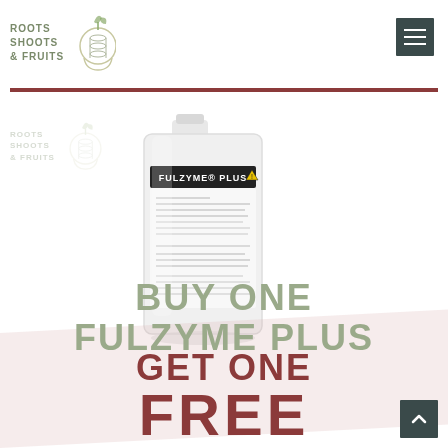ROOTS SHOOTS & FRUITS
[Figure (photo): A white gallon jug of Fulzyme Plus product with label showing FULZYME PLUS, with Roots Shoots & Fruits watermark logo behind it]
BUY ONE FULZYME PLUS GET ONE FREE